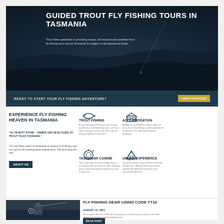GUIDED TROUT FLY FISHING TOURS IN TASMANIA
Trout Tales specialise in providing unique, all-inclusive personalised trout fly fishing tours across Tasmania for anglers of all experience levels.
READY TO START YOUR FLY FISHING ADVENTURE?
VIEW PACKAGES
EXPERIENCE FLY FISHING HEAVEN IN TASMANIA
"HI, I'M MATT STONE – OWNER AND HEAD GUIDE OF TROUT TALES TASMANIA."
"For over fifteen years I've developed my passion for fly fishing, wild trout and for the amazing places experienced in Tasmania along the way."
ABOUT US
TROUT FISHING
A truly Tasmanian fishing journey through guided tours and fly fishing tours. Let Trout Tales show you some of the best trout fly fishing anywhere in the world.
ACCOMMODATION
Multiple accommodation options within an hour of our trout fishing locations provide the perfect base for multi-day fly fishing packages.
TASMANIAN CUISINE
Your Trout Tales Tasmania Guide, Matt, is an experienced, local chef in short, allowing you to enjoy local gourmet produce as part of your tour.
UNIQUE EXPERIENCE
Tasmania boasts many world-renowned fly fishing areas. Many of which are located spectacular highland landscapes and untouched wilderness.
[Figure (photo): Person fishing with fly rod and reel near water]
FLY FISHING GEAR USING CODE TT10
AUGUST 15, 2021
Access great deals on all the fly fishing gear you need using our unique code when shopping at Hudson's Fly Fishing Australia.
READ POST